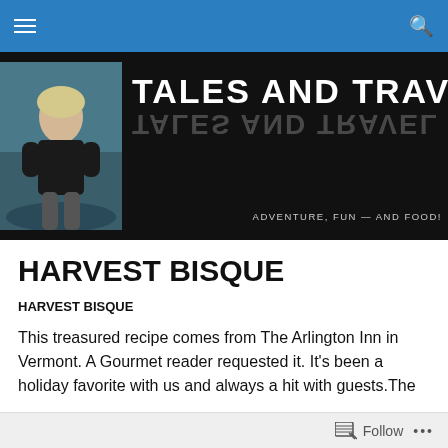Navigation bar with hamburger menu and search icon
[Figure (photo): Tales and Travel blog header banner with woman's photo on left and bold title text 'TALES AND TRAVEL' with reflection effect on black background, subtitle 'ADVENTURE, FUN — AND FOOD!']
HARVEST BISQUE
HARVEST BISQUE
This treasured recipe comes from The Arlington Inn in Vermont. A Gourmet reader requested it. It's been a holiday favorite with us and always a hit with guests.The
Follow ...